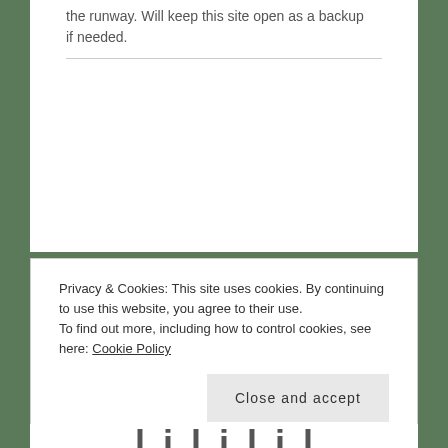the runway. Will keep this site open as a backup if needed.
Privacy & Cookies: This site uses cookies. By continuing to use this website, you agree to their use.
To find out more, including how to control cookies, see here: Cookie Policy